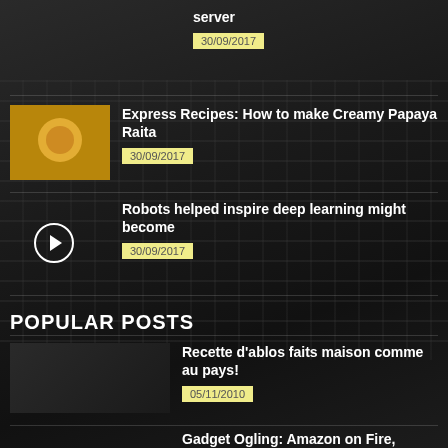server
30/09/2017
Express Recipes: How to make Creamy Papaya Raita
30/09/2017
Robots helped inspire deep learning might become
30/09/2017
POPULAR POSTS
Recette d'ablos faits maison comme au pays!
05/11/2010
Gadget Ogling: Amazon on Fire, Virtual Reality,